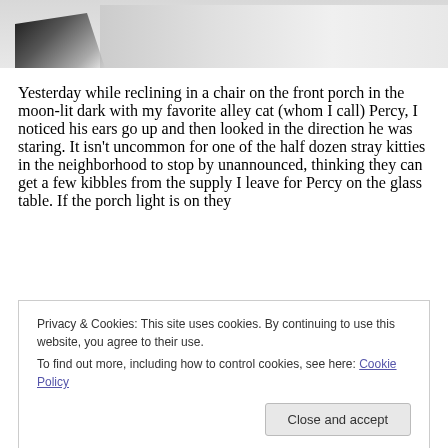[Figure (photo): Close-up photo of a cat, showing fur — white and light gray tones with a dark patch visible at lower left, likely cat fur texture.]
Yesterday while reclining in a chair on the front porch in the moon-lit dark with my favorite alley cat (whom I call) Percy, I noticed his ears go up and then looked in the direction he was staring. It isn't uncommon for one of the half dozen stray kitties in the neighborhood to stop by unannounced, thinking they can get a few kibbles from the supply I leave for Percy on the glass table. If the porch light is on they
Privacy & Cookies: This site uses cookies. By continuing to use this website, you agree to their use.
To find out more, including how to control cookies, see here: Cookie Policy
Close and accept
the strays finding themselves on my lap (except Percy